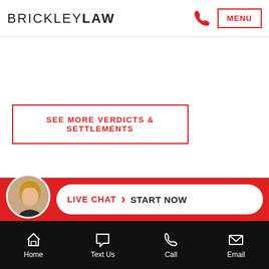BRICKLEY LAW
SEE MORE VERDICTS & SETTLEMENTS
PERSONAL INJURY
PROBATE
LIVE CHAT | START NOW
Home  Text Us  Call  Email